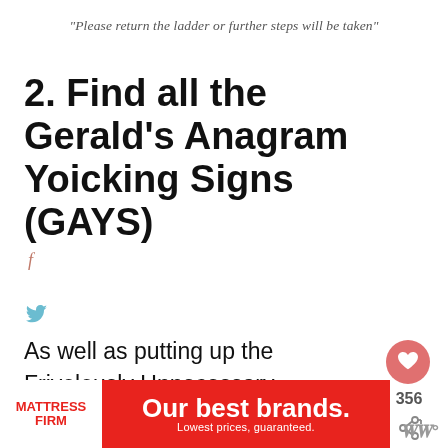"Please return the ladder or further steps will be taken"
2. Find all the Gerald's Anagram Yoicking Signs (GAYS)
As well as putting up the Frivolously Unnecessary Notices, Lord Berners played another trick on his lover Robert Heber-Percy who was into fox h
[Figure (screenshot): Advertisement banner for Mattress Firm: red background with white Mattress Firm logo, text 'Our best brands. Lowest prices, guaranteed.']